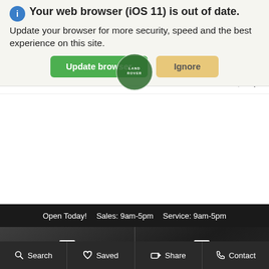[Figure (screenshot): Browser update notification banner with warning icon, text 'Your web browser (iOS 11) is out of date. Update your browser for more security, speed and the best experience on this site.' with green 'Update browser' button and yellow 'Ignore' button]
[Figure (screenshot): Navigation bar with hamburger menu, MENU text, Land Rover Palm Beach logo, search and location icons]
Open Today!   Sales: 9am-5pm   Service: 9am-5pm
[Figure (screenshot): Dark background vehicle section showing NEW VEHICLES with car icon on left and USED VEHICLES with multiple car icon on right, divided by vertical line, with Range Rover SUV visible in background]
[Figure (screenshot): Bottom navigation bar with Search, Saved, Share, and Contact buttons]